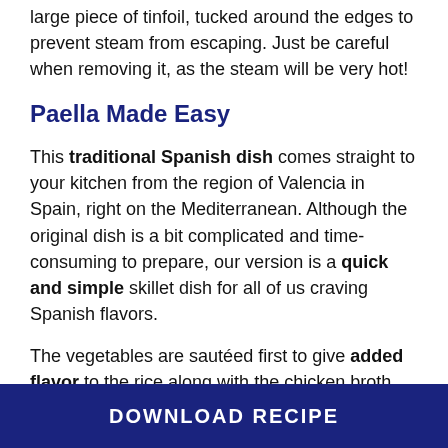large piece of tinfoil, tucked around the edges to prevent steam from escaping. Just be careful when removing it, as the steam will be very hot!
Paella Made Easy
This traditional Spanish dish comes straight to your kitchen from the region of Valencia in Spain, right on the Mediterranean. Although the original dish is a bit complicated and time-consuming to prepare, our version is a quick and simple skillet dish for all of us craving Spanish flavors.
The vegetables are sautéed first to give added flavor to the rice along with the chicken broth, turmeric and shrimp. If you're looking to cut down on sodium intake, try using low-sodium chicken broth, or simply use half water and half broth.
DOWNLOAD RECIPE